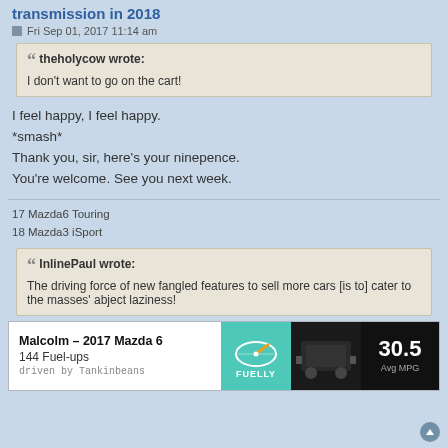transmission in 2018
Fri Sep 01, 2017 11:14 am
theholycow wrote: I don't want to go on the cart!
I feel happy, I feel happy.
*smash*
Thank you, sir, here's your ninepence.
You're welcome. See you next week.
17 Mazda6 Touring
18 Mazda3 iSport
InlinePaul wrote: The driving force of new fangled features to sell more cars [is to] cater to the masses' abject laziness!
| Vehicle | Stats | Photo | MPG |
| --- | --- | --- | --- |
| Malcolm - 2017 Mazda 6
144 Fuel-ups
driven by Tankinbeans | FUELLY | (photo) | 30.5 Avg MPG |